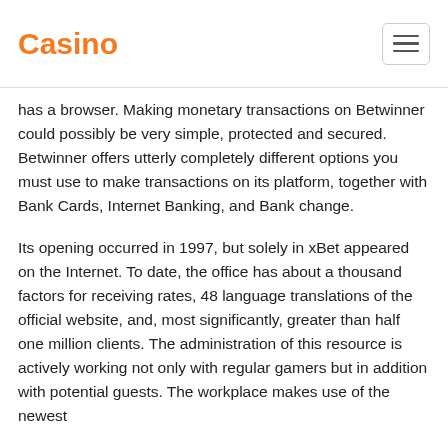Casino
has a browser. Making monetary transactions on Betwinner could possibly be very simple, protected and secured. Betwinner offers utterly completely different options you must use to make transactions on its platform, together with Bank Cards, Internet Banking, and Bank change.
Its opening occurred in 1997, but solely in xBet appeared on the Internet. To date, the office has about a thousand factors for receiving rates, 48 language translations of the official website, and, most significantly, greater than half one million clients. The administration of this resource is actively working not only with regular gamers but in addition with potential guests. The workplace makes use of the newest